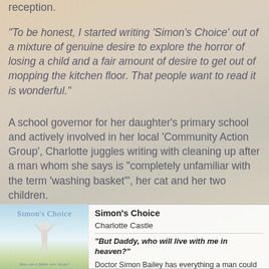reception.
“To be honest, I started writing ‘Simon’s Choice’ out of a mixture of genuine desire to explore the horror of losing a child and a fair amount of desire to get out of mopping the kitchen floor. That people want to read it is wonderful.”
A school governor for her daughter’s primary school and actively involved in her local ‘Community Action Group’, Charlotte juggles writing with cleaning up after a man whom she says is “completely unfamiliar with the term ‘washing basket’”, her cat and her two children.
[Figure (illustration): Book cover of Simon's Choice showing a child figure with arms raised against a sky background with field below, title text 'Simon's Choice' at top]
Simon's Choice
Charlotte Castle
"But Daddy, who will live with me in heaven?"
Doctor Simon Bailey has everything a man could ever want.
Then his beautiful daughter is